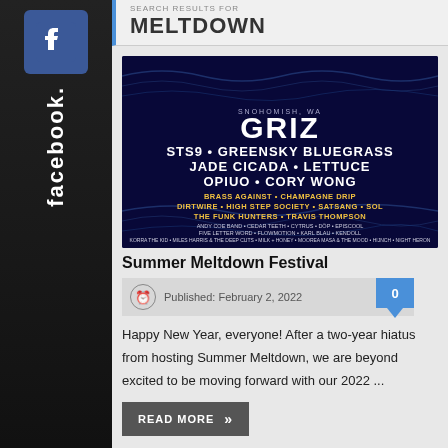SEARCH RESULTS FOR MELTDOWN
[Figure (photo): Summer Meltdown Festival lineup poster with dark blue background listing artists: GRIZ, STS9, Greensky Bluegrass, Jade Cicada, Lettuce, Opiuo, Cory Wong, and many more]
Summer Meltdown Festival
Published: February 2, 2022  0
Happy New Year, everyone! After a two-year hiatus from hosting Summer Meltdown, we are beyond excited to be moving forward with our 2022 ...
READ MORE »